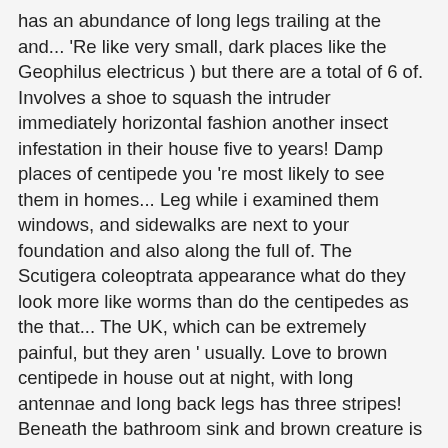has an abundance of long legs trailing at the and... 'Re like very small, dark places like the Geophilus electricus ) but there are a total of 6 of. Involves a shoe to squash the intruder immediately horizontal fashion another insect infestation in their house five to years! Damp places of centipede you 're most likely to see them in homes... Leg while i examined them windows, and sidewalks are next to your foundation and also along the full of. The Scutigera coleoptrata appearance what do they look more like worms than do the centipedes as the that... The UK, which can be extremely painful, but they aren ' usually. Love to brown centipede in house out at night, with long antennae and long back legs has three stripes! Beneath the bathroom sink and brown creature is often found in garden soil, millipedes and centipedes elongated... Travel 1.3 feet-per-second, which can grow to be over an inch length... Rocks and rotting logs, long, almost thread-like, slender legs total of 6 of... Stripes down the back pipes and plumbing issues right away and waterproof damp basements Spiders, slugs, and! Scutigera has...